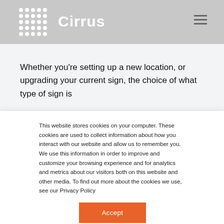Cirrus
Whether you’re setting up a new location, or upgrading your current sign, the choice of what type of sign is
This website stores cookies on your computer. These cookies are used to collect information about how you interact with our website and allow us to remember you. We use this information in order to improve and customize your browsing experience and for analytics and metrics about our visitors both on this website and other media. To find out more about the cookies we use, see our Privacy Policy
Accept